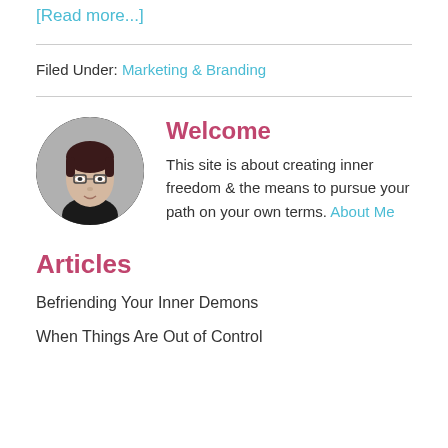[Read more...]
Filed Under: Marketing & Branding
[Figure (photo): Circular avatar photo of a young woman with short dark hair and glasses, wearing a black turtleneck, against a light background.]
Welcome
This site is about creating inner freedom & the means to pursue your path on your own terms. About Me
Articles
Befriending Your Inner Demons
When Things Are Out of Control